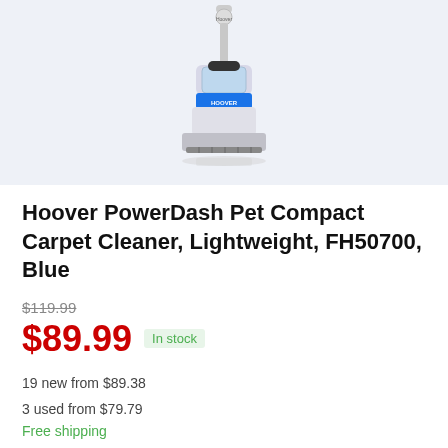[Figure (photo): Hoover PowerDash Pet Compact Carpet Cleaner product photo showing a white and blue upright carpet cleaner machine on a light blue/grey background]
Hoover PowerDash Pet Compact Carpet Cleaner, Lightweight, FH50700, Blue
$119.99 (strikethrough original price)
$89.99 In stock
19 new from $89.38
3 used from $79.79
Free shipping